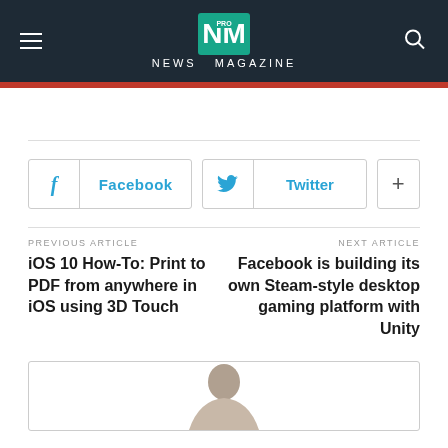NEWS MAGAZINE
Facebook
Twitter
+
PREVIOUS ARTICLE
iOS 10 How-To: Print to PDF from anywhere in iOS using 3D Touch
NEXT ARTICLE
Facebook is building its own Steam-style desktop gaming platform with Unity
[Figure (photo): Person photo shown partially at bottom of page]